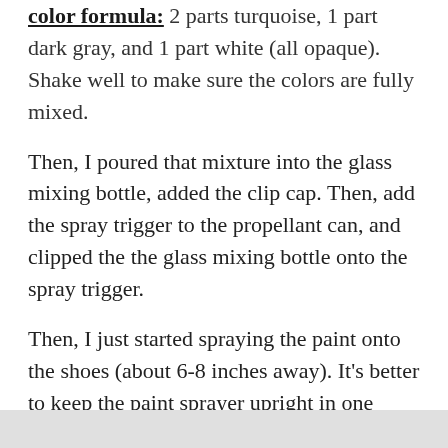color formula: 2 parts turquoise, 1 part dark gray, and 1 part white (all opaque). Shake well to make sure the colors are fully mixed.
Then, I poured that mixture into the glass mixing bottle, added the clip cap. Then, add the spray trigger to the propellant can, and clipped the the glass mixing bottle onto the spray trigger.
Then, I just started spraying the paint onto the shoes (about 6-8 inches away). It’s better to keep the paint sprayer upright in one position and move the shoe around, if you can. Let the paint dry to the touch, than remove the painter’s tape, add a sealant if necessary. Done!